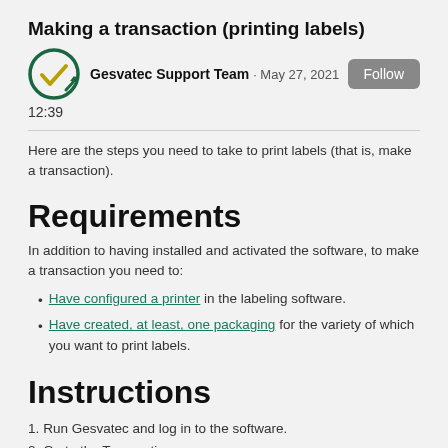Making a transaction (printing labels)
Gesvatec Support Team · May 27, 2021
12:39
Here are the steps you need to take to print labels (that is, make a transaction).
Requirements
In addition to having installed and activated the software, to make a transaction you need to:
Have configured a printer in the labeling software.
Have created, at least, one packaging for the variety of which you want to print labels.
Instructions
1. Run Gesvatec and log in to the software.
2. Go to the Transaction...